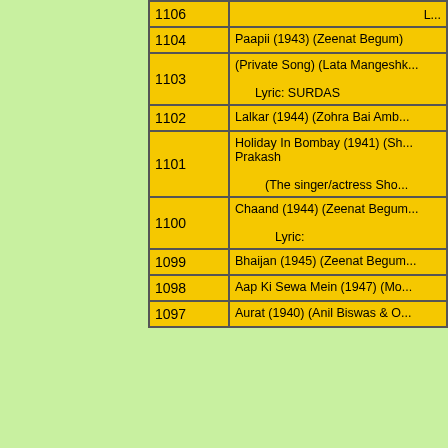| # | Description |
| --- | --- |
| 1106 | L... |
| 1104 | Paapii (1943) (Zeenat Begum) |
| 1103 | (Private Song) (Lata Mangeshkar)

Lyric: SURDAS |
| 1102 | Lalkar (1944) (Zohra Bai Amb... |
| 1101 | Holiday In Bombay (1941) (Sh... Prakash

(The singer/actress Sho... |
| 1100 | Chaand (1944) (Zeenat Begum...)

Lyric: |
| 1099 | Bhaijan (1945) (Zeenat Begum... |
| 1098 | Aap Ki Sewa Mein (1947) (Mo... |
| 1097 | Aurat (1940) (Anil Biswas & O... |